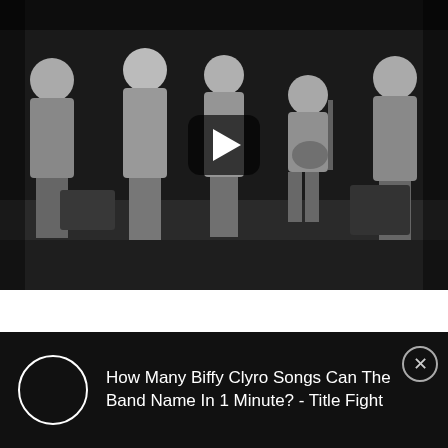[Figure (screenshot): Black and white video thumbnail showing five men standing/sitting, with a play button overlay in the center. Appears to be a vintage TV performance scene.]
How Many Biffy Clyro Songs Can The Band Name In 1 Minute? - Title Fight